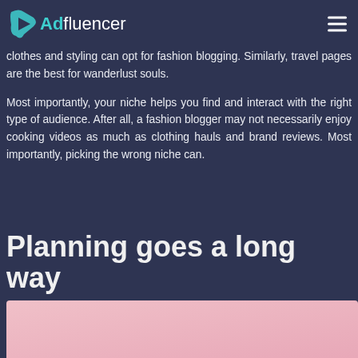Adfluencer
clothes and styling can opt for fashion blogging. Similarly, travel pages are the best for wanderlust souls.
Most importantly, your niche helps you find and interact with the right type of audience. After all, a fashion blogger may not necessarily enjoy cooking videos as much as clothing hauls and brand reviews. Most importantly, picking the wrong niche can.
Planning goes a long way
[Figure (photo): Pink/rose gradient image partially visible at the bottom of the page]